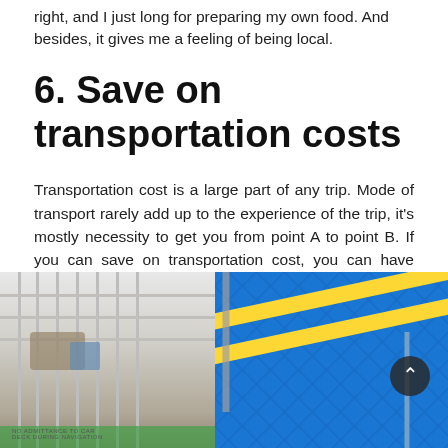right, and I just long for preparing my own food. And besides, it gives me a feeling of being local.
6. Save on transportation costs
Transportation cost is a large part of any trip. Mode of transport rarely add up to the experience of the trip, it's mostly necessity to get you from point A to point B. If you can save on transportation cost, you can have more money to spend on experiencing the actual destination you visit.
[Figure (photo): Photo of a ferry boat deck with white metal railings on the left and blue hull with yellow diagonal stripes on the right]